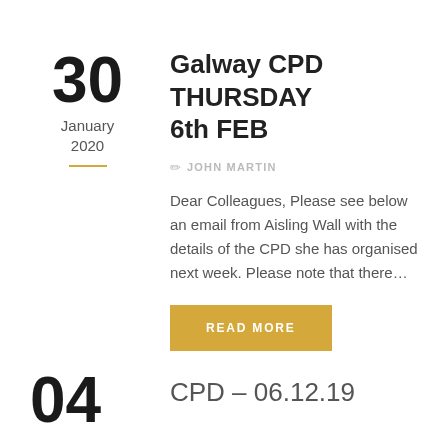Galway CPD THURSDAY 6th FEB
30
January
2020
JOHN MARTIN
Dear Colleagues, Please see below an email from Aisling Wall with the details of the CPD she has organised next week. Please note that there…
READ MORE
CPD – 06.12.19
04